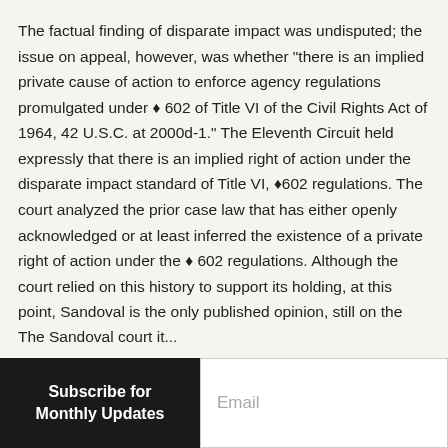The factual finding of disparate impact was undisputed; the issue on appeal, however, was whether "there is an implied private cause of action to enforce agency regulations promulgated under § 602 of Title VI of the Civil Rights Act of 1964, 42 U.S.C. at 2000d-1." The Eleventh Circuit held expressly that there is an implied right of action under the disparate impact standard of Title VI, §602 regulations. The court analyzed the prior case law that has either openly acknowledged or at least inferred the existence of a private right of action under the § 602 regulations. Although the court relied on this history to support its holding, at this point, Sandoval is the only published opinion, still on the books, which expressly holds that there is an implied right of action under § 602 of Title VI of the Civil Rights Act of 1964.
The Sandoval court it...
Subscribe for Monthly Updates
Email